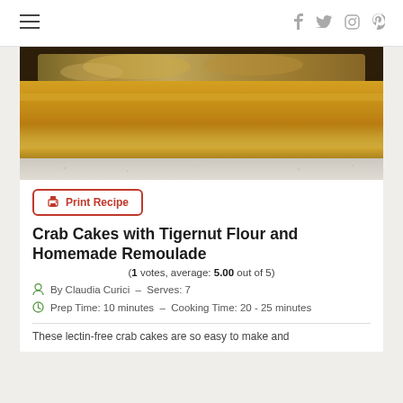Navigation header with hamburger menu and social icons (Facebook, Twitter, Instagram, Pinterest)
[Figure (photo): Close-up photo of crab cakes in a wooden/bamboo bowl on a granite surface]
Print Recipe
Crab Cakes with Tigernut Flour and Homemade Remoulade
(1 votes, average: 5.00 out of 5)
By Claudia Curici – Serves: 7
Prep Time: 10 minutes – Cooking Time: 20 - 25 minutes
These lectin-free crab cakes are so easy to make and